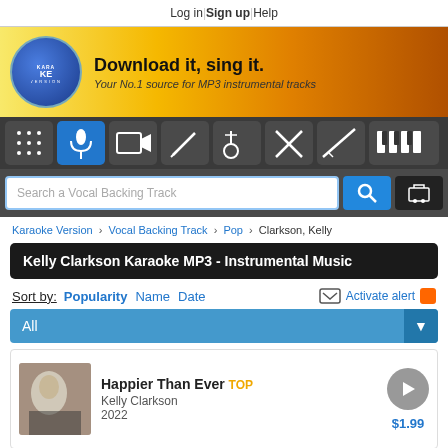Log in | Sign up | Help
[Figure (logo): Karaoke Version logo - blue oval with music note]
Download it, sing it.
Your No.1 source for MP3 instrumental tracks
[Figure (infographic): Navigation icon bar with music-related icons: grid, microphone, video camera, keyboard, guitar, scissors/X, guitar neck, piano keys]
Search a Vocal Backing Track
Karaoke Version > Vocal Backing Track > Pop > Clarkson, Kelly
Kelly Clarkson Karaoke MP3 - Instrumental Music
Sort by: Popularity Name Date Activate alert
All
Happier Than Ever TOP
Kelly Clarkson
2022
$1.99